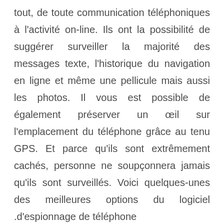tout, de toute communication téléphoniques à l'activité on-line. Ils ont la possibilité de suggérer surveiller la majorité des messages texte, l'historique du navigation en ligne et même une pellicule mais aussi les photos. Il vous est possible de également préserver un œil sur l'emplacement du téléphone grâce au tenu GPS. Et parce qu'ils sont extrêmement cachés, personne ne soupçonnera jamais qu'ils sont surveillés. Voici quelques-unes des meilleures options du logiciel .d'espionnage de téléphone
Easy Phone Track – Cette application se trouve être conçue de sorte à garder une